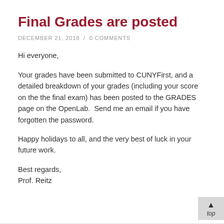Final Grades are posted
DECEMBER 21, 2018 / 0 COMMENTS
Hi everyone,
Your grades have been submitted to CUNYFirst, and a detailed breakdown of your grades (including your score on the the final exam) has been posted to the GRADES page on the OpenLab.  Send me an email if you have forgotten the password.
Happy holidays to all, and the very best of luck in your future work.
Best regards,
Prof. Reitz